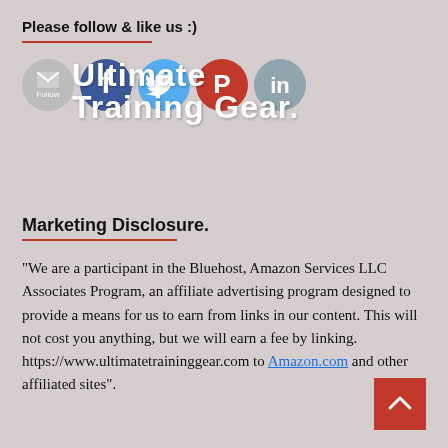Please follow & like us :)
[Figure (illustration): Social media follow icons: email/follow button (gray circle), Facebook (blue circle with f), Twitter (light blue circle with bird), Pinterest/Google+ (red circle), and another social icon. Overlaid with bold white text 'Ultimate Training Gear.']
Marketing Disclosure.
“We are a participant in the Bluehost, Amazon Services LLC Associates Program, an affiliate advertising program designed to provide a means for us to earn from links in our content. This will not cost you anything, but we will earn a fee by linking. https://www.ultimatetraininggear.com to Amazon.com and other affiliated sites”.